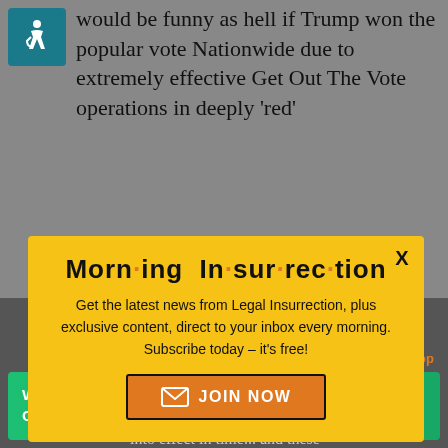would be funny as hell if Trump won the popular vote Nationwide due to extremely effective Get Out The Vote operations in deeply 'red'
[Figure (illustration): Blue square with white wheelchair accessibility icon]
[Figure (screenshot): Morning Insurrection email newsletter popup modal with yellow background, orange dot separator letters in title, subscribe text, and orange JOIN NOW button]
Donald Trump 2020.
Back To Top
[Figure (infographic): Green Fiverr advertisement banner: Working from home? Get your projects done on fiverr]
into effect in time... and these